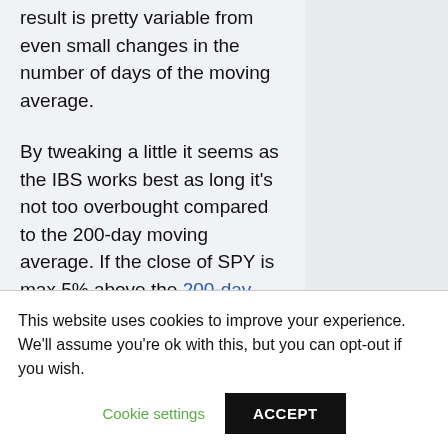result is pretty variable from even small changes in the number of days of the moving average.
By tweaking a little it seems as the IBS works best as long it's not too overbought compared to the 200-day moving average. If the close of SPY is max 5% above the 200-day moving average, it improves the result the best:
This website uses cookies to improve your experience. We'll assume you're ok with this, but you can opt-out if you wish.